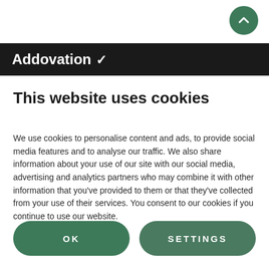[Figure (logo): Addovation logo with checkmark on dark navigation bar, with green scroll-to-top button in top right corner]
This website uses cookies
We use cookies to personalise content and ads, to provide social media features and to analyse our traffic. We also share information about your use of our site with our social media, advertising and analytics partners who may combine it with other information that you've provided to them or that they've collected from your use of their services. You consent to our cookies if you continue to use our website.
OK
SETTINGS